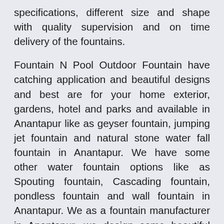specifications, different size and shape with quality supervision and on time delivery of the fountains.
Fountain N Pool Outdoor Fountain have catching application and beautiful designs and best are for your home exterior, gardens, hotel and parks and available in Anantapur like as geyser fountain, jumping jet fountain and natural stone water fall fountain in Anantapur. We have some other water fountain options like as Spouting fountain, Cascading fountain, pondless fountain and wall fountain in Anantapur. We as a fountain manufacturer in Anantapur, we design some beautiful and attractive designs of fountain to give them antique and contemporary looks are available in exotic shape, verities and colors. Garden fountain are available at our shop and store are stone garden fountain, dolphin stone fountain, garden wall fountains, lotus fountain, pool surrounds stone fountains, stone fountains, stone outdoor fountains, lion wall fountains, Stone statue, stone Monumental Stone Garden